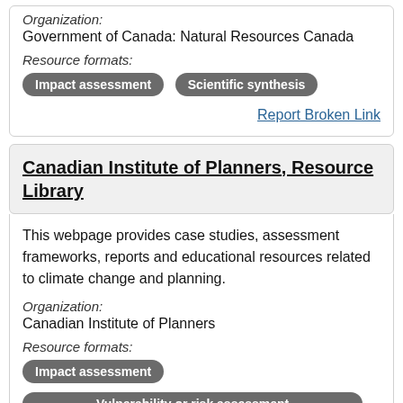Organization:
Government of Canada: Natural Resources Canada
Resource formats:
Impact assessment
Scientific synthesis
Report Broken Link
Canadian Institute of Planners, Resource Library
This webpage provides case studies, assessment frameworks, reports and educational resources related to climate change and planning.
Organization:
Canadian Institute of Planners
Resource formats:
Impact assessment
Vulnerability or risk assessment